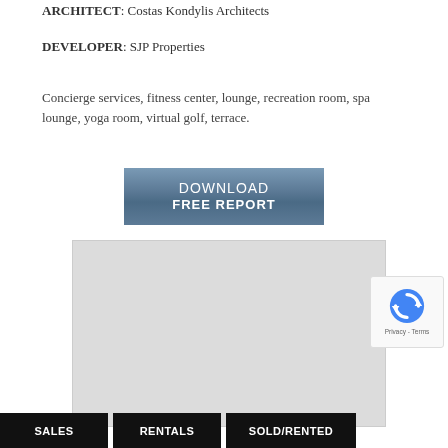ARCHITECT: Costas Kondylis Architects
DEVELOPER: SJP Properties
Concierge services, fitness center, lounge, recreation room, spa lounge, yoga room, virtual golf, terrace.
[Figure (other): Download Free Report button with steel blue gradient background]
[Figure (map): Embedded map area showing a light grey placeholder map region]
[Figure (other): reCAPTCHA badge with rotating arrows icon and Privacy - Terms text]
SALES
RENTALS
SOLD/RENTED